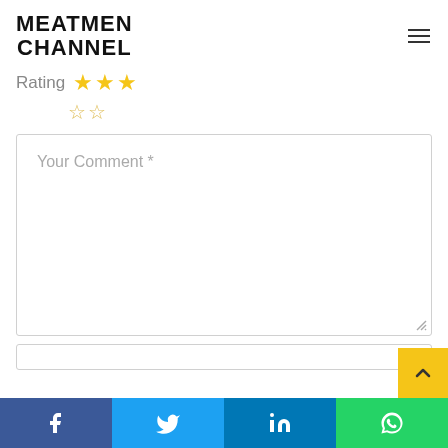MEATMEN CHANNEL
Rating ★★★☆☆
[Figure (screenshot): Comment form textarea with placeholder text 'Your Comment *' and a resize handle]
Facebook | Twitter | LinkedIn | WhatsApp social share bar